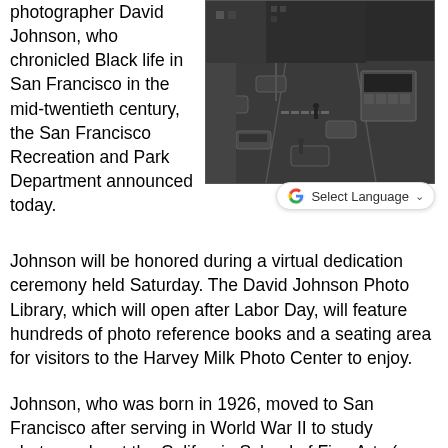legendary photographer David Johnson, who chronicled Black life in San Francisco in the mid-twentieth century, the San Francisco Recreation and Park Department announced today.
[Figure (photo): Black and white aerial/elevated photograph of a busy San Francisco street scene, showing cars, a streetcar/trolley, and pedestrians at an intersection, mid-twentieth century.]
Johnson will be honored during a virtual dedication ceremony held Saturday. The David Johnson Photo Library, which will open after Labor Day, will feature hundreds of photo reference books and a seating area for visitors to the Harvey Milk Photo Center to enjoy.
Johnson, who was born in 1926, moved to San Francisco after serving in World War II to study photography at the California School of Fine Arts (now the San Francisco Art Institute) with Ansel Adams and Minor White. He was Adams's first African American student. Both Adams and White encouraged Johnson to photograph what he knew,